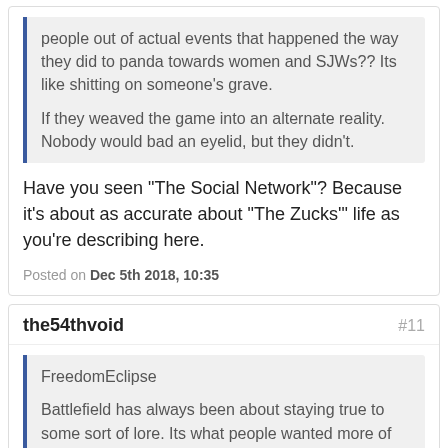people out of actual events that happened the way they did to panda towards women and SJWs?? Its like shitting on someone's grave.

If they weaved the game into an alternate reality. Nobody would bad an eyelid, but they didn't.
Have you seen "The Social Network"? Because it's about as accurate about "The Zucks'" life as you're describing here.
Posted on Dec 5th 2018, 10:35
the54thvoid #11
FreedomEclipse
Battlefield has always been about staying true to some sort of lore. Its what people wanted more of from BF1 war stories but to write the brave people out of actual events that happened the